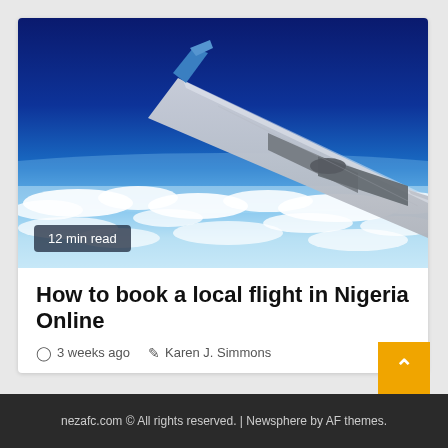[Figure (photo): Aerial photograph taken from inside an airplane showing the airplane wing against a deep blue sky, with white clouds visible below. The wing has a blue-tipped winglet. Horizon visible in the background.]
12 min read
How to book a local flight in Nigeria Online
3 weeks ago   Karen J. Simmons
nezafc.com © All rights reserved. | Newsphere by AF themes.